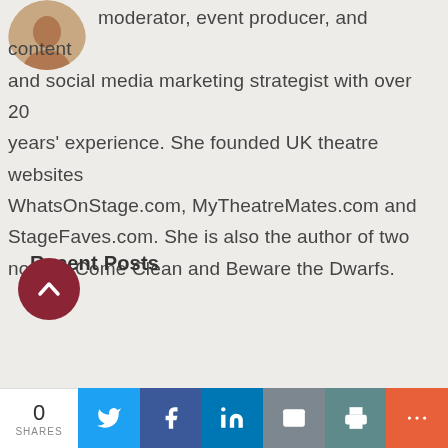[Figure (photo): Circular avatar/profile photo of a woman, partially cropped at the top-left of the page]
moderator, event producer, and content and social media marketing strategist with over 20 years' experience. She founded UK theatre websites WhatsOnStage.com, MyTheatreMates.com and StageFaves.com. She is also the author of two novels: Come Clean and Beware the Dwarfs.
Recent Posts
[Figure (other): Dark red circular scroll-to-top button with an upward chevron arrow icon]
0 SHARES
[Figure (infographic): Social share bar with buttons for Twitter (blue), Facebook (dark blue), LinkedIn (blue), Email (grey), Print (teal), and More (orange-red)]